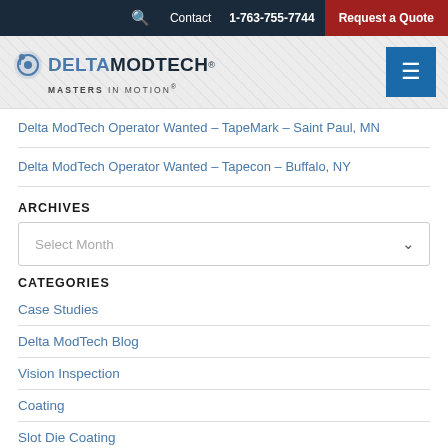Contact  1-763-755-7744  Request a Quote
[Figure (logo): Delta ModTech logo with gear icon, text DELTAMODTECH® Masters in Motion®, and hamburger menu button]
Delta ModTech Operator Wanted – TapeMark – Saint Paul, MN
Delta ModTech Operator Wanted – Tapecon – Buffalo, NY
ARCHIVES
Select Month
CATEGORIES
Case Studies
Delta ModTech Blog
Vision Inspection
Coating
Slot Die Coating
Lasers